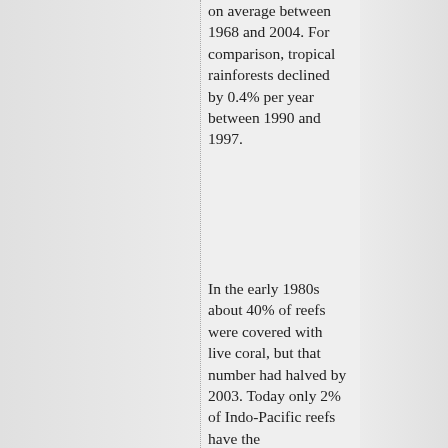on average between 1968 and 2004. For comparison, tropical rainforests declined by 0.4% per year between 1990 and 1997.
In the early 1980s about 40% of reefs were covered with live coral, but that number had halved by 2003. Today only 2% of Indo-Pacific reefs have the